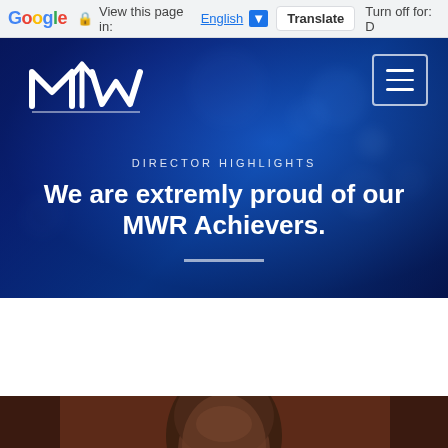Google  View this page in: English [▼]  Translate  Turn off for: D
[Figure (screenshot): MWR Make Wealth Real website hero section with dark blue background, MWR logo top-left, hamburger menu top-right, DIRECTOR HIGHLIGHTS label, heading 'We are extremly proud of our MWR Achievers.' and white horizontal divider line]
DIRECTOR HIGHLIGHTS
We are extremly proud of our MWR Achievers.
[Figure (photo): Partial photo of a bald Black man's head and upper face against a dark reddish-brown background, cropped at bottom of page]